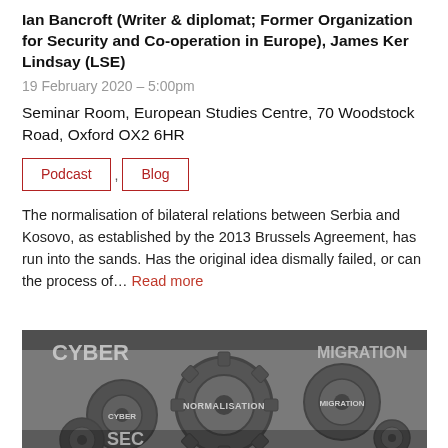Ian Bancroft (Writer & diplomat; Former Organization for Security and Co-operation in Europe), James Ker Lindsay (LSE)
19 February 2020 – 5:00pm
Seminar Room, European Studies Centre, 70 Woodstock Road, Oxford OX2 6HR
Podcast
Blog
The normalisation of bilateral relations between Serbia and Kosovo, as established by the 2013 Brussels Agreement, has run into the sands. Has the original idea dismally failed, or can the process of… Read more
[Figure (photo): Black and white image of interlocking gears with words engraved: CYBER, NORMALISATION, MIGRATION, SEC(URITY)]